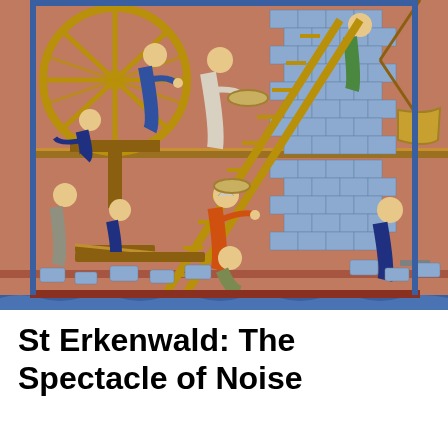[Figure (illustration): Medieval illuminated manuscript illustration showing construction workers building a stone wall. Scene includes a large wooden wheel/crane on the left operated by workers in blue robes, workers climbing a ladder carrying materials, stone masons working at the base, and a figure operating a pulley system on the right. Colors include orange, blue, green, and gold on a terracotta/pink background.]
St Erkenwald: The Spectacle of Noise